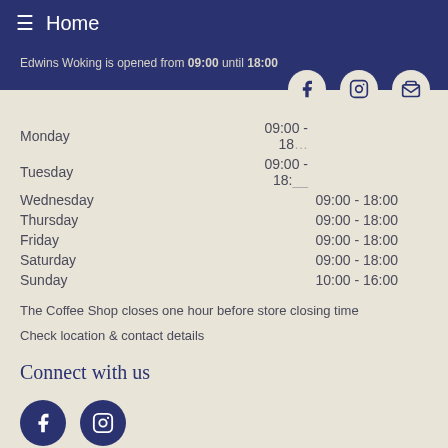≡ Home
Edwins Woking is opened from 09:00 until 18:00
| Day | Hours |
| --- | --- |
| Monday | 09:00 - 18:00 |
| Tuesday | 09:00 - 18:00 |
| Wednesday | 09:00 - 18:00 |
| Thursday | 09:00 - 18:00 |
| Friday | 09:00 - 18:00 |
| Saturday | 09:00 - 18:00 |
| Sunday | 10:00 - 16:00 |
The Coffee Shop closes one hour before store closing time
Check location & contact details
Connect with us
[Figure (illustration): Facebook and Instagram social media icon circles in dark navy blue]